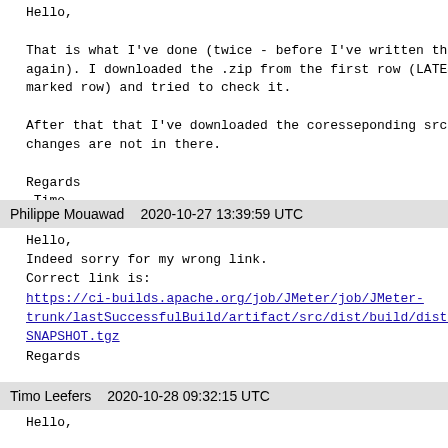Hello,

That is what I've done (twice - before I've written the again). I downloaded the .zip from the first row (LATEST marked row) and tried to check it.

After that that I've downloaded the coresseponding src-a changes are not in there.

Regards
 Timo
Philippe Mouawad    2020-10-27 13:39:59 UTC
Hello,
Indeed sorry for my wrong link.
Correct link is:
https://ci-builds.apache.org/job/JMeter/job/JMeter-trunk/lastSuccessfulBuild/artifact/src/dist/build/distributioSNAPSHOT.tgz
Regards
Timo Leefers    2020-10-28 09:32:15 UTC
Hello,
No Problem, but today I've checked it and it works well